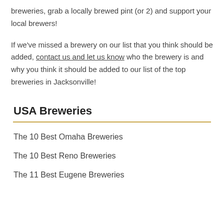breweries, grab a locally brewed pint (or 2) and support your local brewers!
If we've missed a brewery on our list that you think should be added, contact us and let us know who the brewery is and why you think it should be added to our list of the top breweries in Jacksonville!
USA Breweries
The 10 Best Omaha Breweries
The 10 Best Reno Breweries
The 11 Best Eugene Breweries